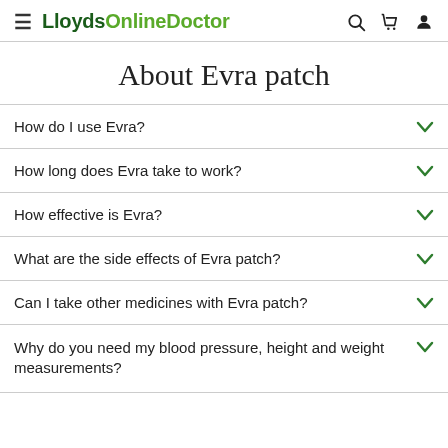LloydsOnlineDoctor
About Evra patch
How do I use Evra?
How long does Evra take to work?
How effective is Evra?
What are the side effects of Evra patch?
Can I take other medicines with Evra patch?
Why do you need my blood pressure, height and weight measurements?